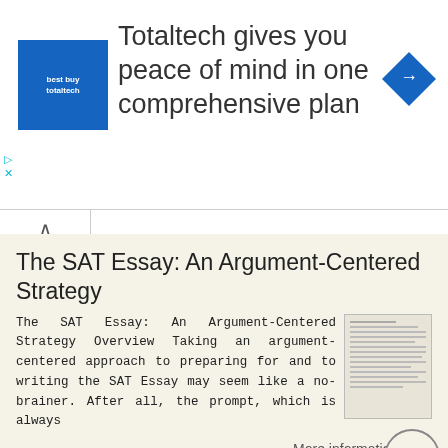[Figure (logo): Totaltech advertisement banner with blue square logo and navigation icon. Text: Totaltech gives you peace of mind in one comprehensive plan]
The SAT Essay: An Argument-Centered Strategy
The SAT Essay: An Argument-Centered Strategy Overview Taking an argument-centered approach to preparing for and to writing the SAT Essay may seem like a no-brainer. After all, the prompt, which is always
More information →
C. Exam #1 comments on difficult spots; if you have questions about this, please let me know. D. Discussion of extra credit
Lecture 8: Refutation Philosophy 130 March